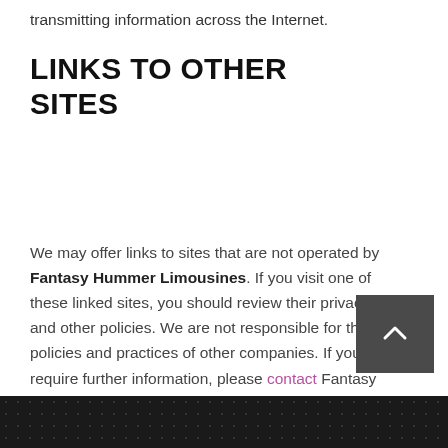transmitting information across the Internet.
LINKS TO OTHER SITES
We may offer links to sites that are not operated by Fantasy Hummer Limousines. If you visit one of these linked sites, you should review their privacy and other policies. We are not responsible for the policies and practices of other companies. If you require further information, please contact Fantasy Hummer Limousines.